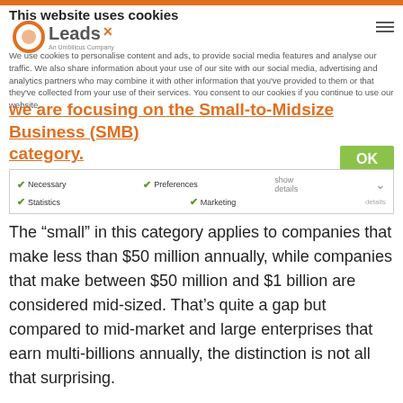This website uses cookies
We use cookies to personalise content and ads, to provide social media features and analyse our traffic. We also share information about your use of our site with our social media, advertising and analytics partners who may combine it with other information that you've provided to them or that they've collected from your use of their services. You consent to our cookies if you continue to use our website.
we are focusing on the Small-to-Midsize Business (SMB) category.
The “small” in this category applies to companies that make less than $50 million annually, while companies that make between $50 million and $1 billion are considered mid-sized. That’s quite a gap but compared to mid-market and large enterprises that earn multi-billions annually, the distinction is not all that surprising.
SMBs are near and dear to us, as we’ve worked with more than 30,000 of them over our 6 years in business. Which brings us to our point: the “small” businesses in SMBs should take full advantage of marketing analytics. Multi-touch attribution (MTA) and customer journey analytics